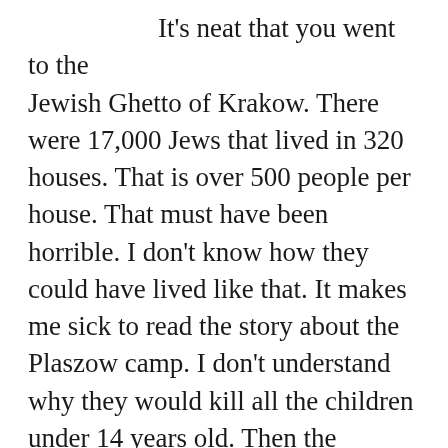It's neat that you went to the Jewish Ghetto of Krakow. There were 17,000 Jews that lived in 320 houses. That is over 500 people per house. That must have been horrible. I don't know how they could have lived like that. It makes me sick to read the story about the Plaszow camp. I don't understand why they would kill all the children under 14 years old. Then the parents had to come back and pick up their children's clothes. I can't imagine who would ever think of this and how it could happen. There is now a McDonalds near there. It must